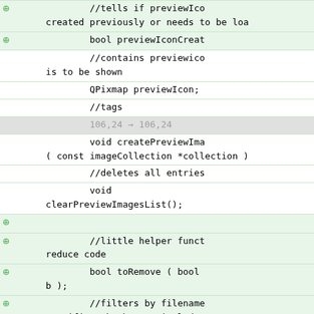[Figure (screenshot): Code diff viewer showing C++ class member declarations with green added rows, white unchanged rows, and a gray diff marker row. Shows previewIcon-related members and helper functions including createPreviewImages, clearPreviewImagesList, toRemove, filterFileName, and filters by filesize.]